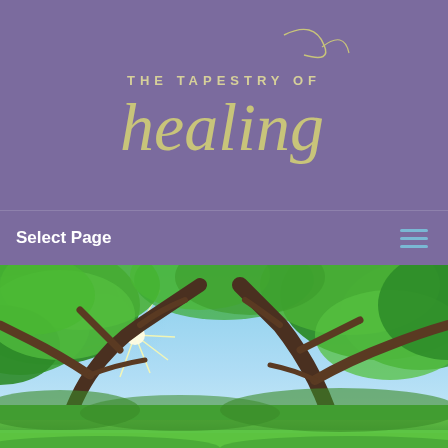[Figure (logo): The Tapestry of Healing logo — stylized script text on purple background]
Select Page
[Figure (photo): Sunlight shining through large green tree canopy over bright green meadow and blue sky]